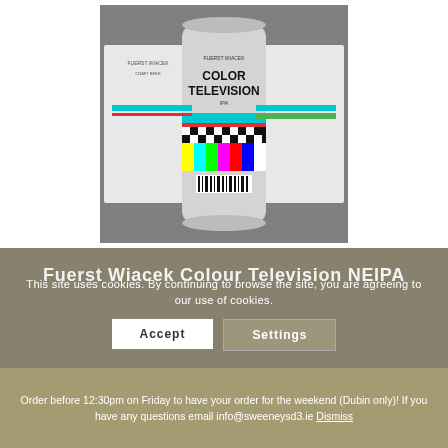[Figure (photo): Product photo of a beer can labeled 'COLOR TELEVISION IPA' by Fuerst Wiacek, shown with its flat label/packaging design on a grey background. The packaging features colorful TV color-bar stripes and a black-and-white checkerboard pattern.]
Fuerst Wiacek Colour Television NEIPA
This site uses cookies. By continuing to browse the site, you are agreeing to our use of cookies.
Accept
Settings
Order before 12:30pm on Friday to have your order for the weekend (Dubin only)! If you have any questions email info@sweeneysd3.ie Dismiss